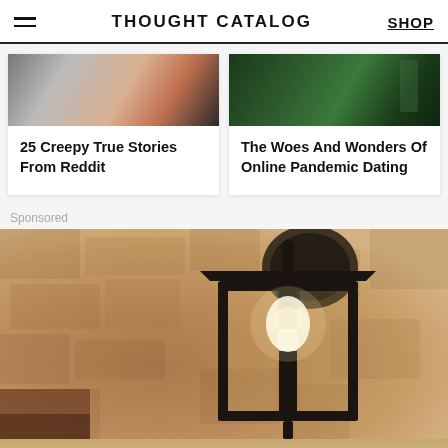THOUGHT CATALOG | SHOP
25 Creepy True Stories From Reddit
The Woes And Wonders Of Online Pandemic Dating
Sponsored
[Figure (photo): Outdoor wall-mounted lantern light fixture on a textured stone/stucco wall, warm sepia tones, black metal frame lantern with visible bulb]